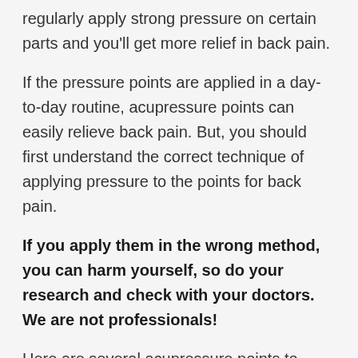regularly apply strong pressure on certain parts and you'll get more relief in back pain.
If the pressure points are applied in a day-to-day routine, acupressure points can easily relieve back pain. But, you should first understand the correct technique of applying pressure to the points for back pain.
If you apply them in the wrong method, you can harm yourself, so do your research and check with your doctors. We are not professionals!
Here are several acupressure points to relieve